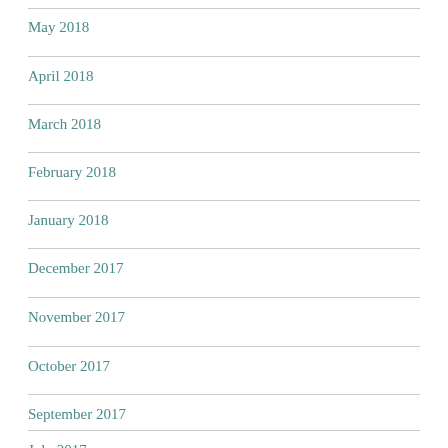May 2018
April 2018
March 2018
February 2018
January 2018
December 2017
November 2017
October 2017
September 2017
July 2017